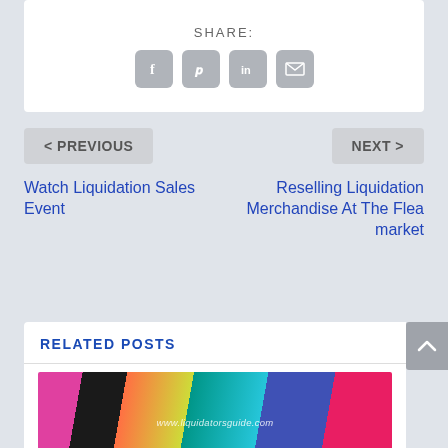SHARE:
[Figure (infographic): Social share buttons: Facebook, Pinterest, LinkedIn, Email]
< PREVIOUS
NEXT >
Watch Liquidation Sales Event
Reselling Liquidation Merchandise At The Flea market
RELATED POSTS
[Figure (photo): Photo of people wearing colorful Pink brand shirts, with watermark www.liquidatorsguide.com]